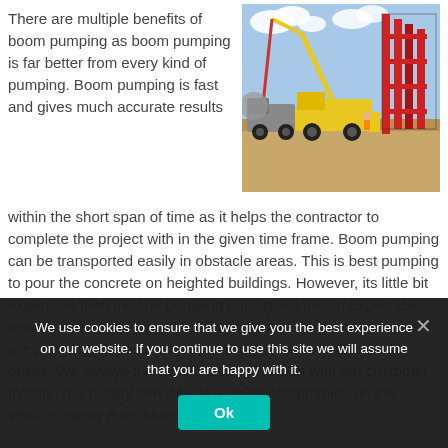There are multiple benefits of boom pumping as boom pumping is far better from every kind of pumping. Boom pumping is fast and gives much accurate results within the short span of time as it helps the contractor to complete the project with in the given time frame. Boom pumping can be transported easily in obstacle areas. This is best pumping to pour the concrete on heighted buildings. However, its little bit expensive then the line pumping but it gives the un expectable results. Keeping in view the requirement of the contractors we are providing the best boom pumping services in reasonable prices. We always try to build a good relation with our customer through our quality services. We never compromise on the service quality ever. Moreover
[Figure (photo): Construction site photograph showing concrete pumping equipment including yellow boom pump trucks and concrete mixer trucks at a large construction site with scaffolding and rebar framework visible in the background.]
We use cookies to ensure that we give you the best experience on our website. If you continue to use this site we will assume that you are happy with it.